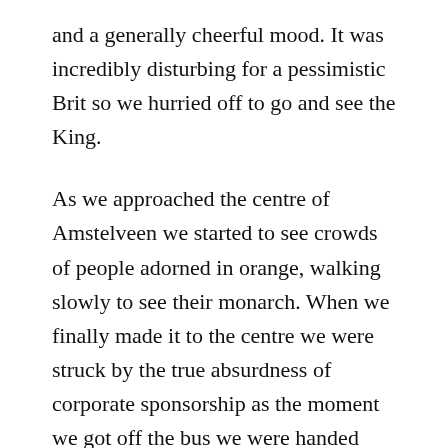and a generally cheerful mood.  It was incredibly disturbing for a pessimistic Brit so we hurried off to go and see the King.
As we approached the centre of Amstelveen we started to see crowds of people adorned in orange, walking slowly to see their monarch.  When we finally made it to the centre we were struck by the true absurdness of corporate sponsorship as the moment we got off the bus we were handed ING bank paper flags to wave.  It was 11:45 a.m, there were hundreds of people, some wearing inflatable rubber crowns, others already drinking beer and almost everyone was fidgety and bored.  From somewhere we couldn't see we heard a children's choir start singing a tuneless melody and